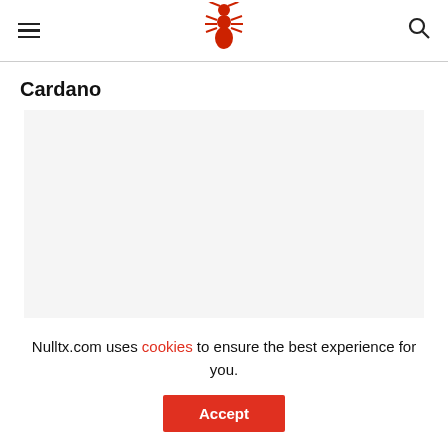NullTX (hamburger menu, logo bug, search icon)
Cardano
[Figure (other): Gray advertisement placeholder area]
Nulltx.com uses cookies to ensure the best experience for you.
Accept